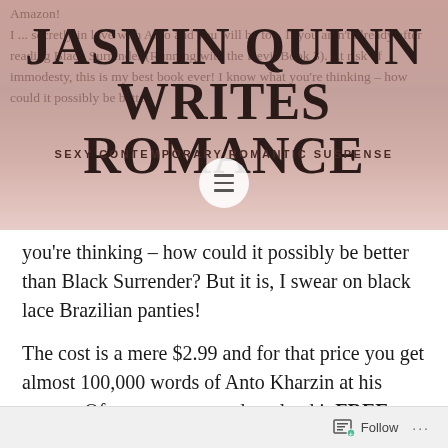JASMIN QUINN WRITES ROMANCE
SEXY CONTEMPORARY ROMANTIC SUSPENSE
you're thinking – how could it possibly be better than Black Surrender? But it is, I swear on black lace Brazilian panties!
The cost is a mere $2.99 and for that price you get almost 100,000 words of Anto Kharzin at his rawest. Of course you can download it FREE anytime on KINDLE UNLIMITED!
Follow ...